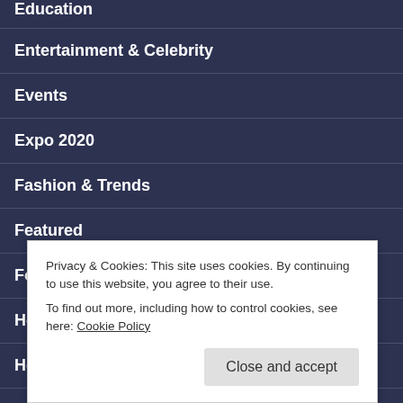Education
Entertainment & Celebrity
Events
Expo 2020
Fashion & Trends
Featured
Food & Dining
Health Care
Hotels & Hosppitality
Privacy & Cookies: This site uses cookies. By continuing to use this website, you agree to their use. To find out more, including how to control cookies, see here: Cookie Policy
Close and accept